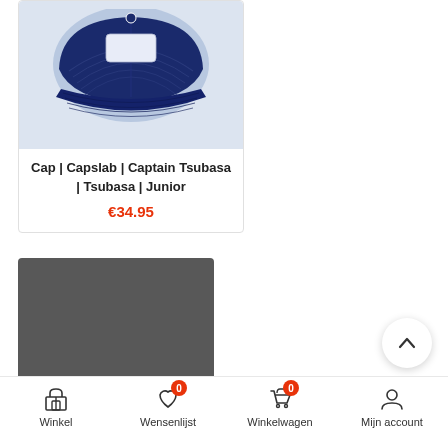[Figure (photo): Product card showing a navy blue Capslab Captain Tsubasa Junior cap with navy brim, displayed on a light blue/grey background. The front of the cap is showing, with stitched brim details visible.]
Cap | Capslab | Captain Tsubasa | Tsubasa | Junior
€34.95
[Figure (photo): Dark grey/charcoal placeholder product image card, partially visible.]
Winkel   Wensenlijst 0   Winkelwagen 0   Mijn account